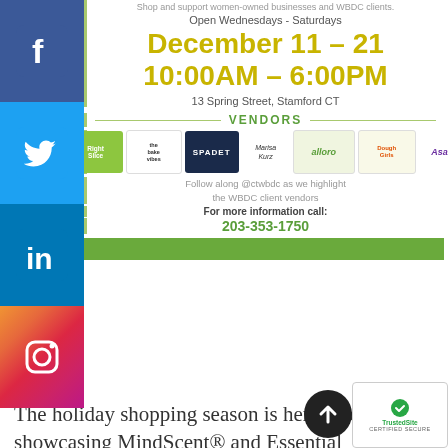Shop and support women-owned businesses and WBDC clients.
Open Wednesdays - Saturdays
December 11 – 21
10:00AM – 6:00PM
13 Spring Street, Stamford CT
VENDORS
[Figure (logo): Row of vendor logos: Right Slice, The Bake Vibes, SPADET, Marisa Kurz, alloro, DoughGirls, Asami]
Follow along @ctwbdc as we highlight the WBDC client vendors
For more information call:
203-353-1750
The holiday shopping season is here, and I'll be showcasing MindScent® and Essential Adornments® accessories at this...